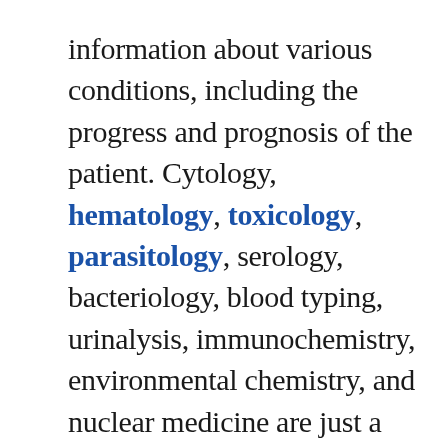information about various conditions, including the progress and prognosis of the patient. Cytology, hematology, toxicology, parasitology, serology, bacteriology, blood typing, urinalysis, immunochemistry, environmental chemistry, and nuclear medicine are just a few of the many areas where this type of employee would be used.